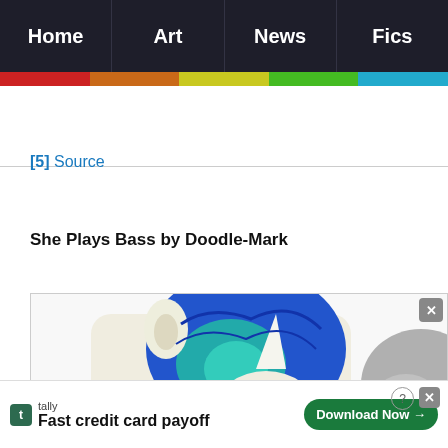Home | Art | News | Fics
[5] Source
She Plays Bass by Doodle-Mark
[Figure (illustration): Cartoon pony character with blue hair and teal highlights, white horn visible, viewed from above/behind. Gray pony partially visible at right edge.]
tally - Fast credit card payoff - Download Now